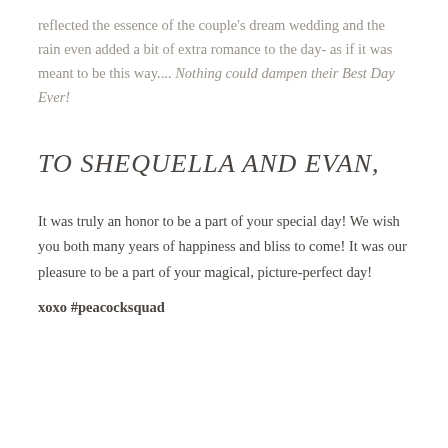reflected the essence of the couple's dream wedding and the rain even added a bit of extra romance to the day- as if it was meant to be this way.... Nothing could dampen their Best Day Ever!
TO SHEQUELLA AND EVAN,
It was truly an honor to be a part of your special day! We wish you both many years of happiness and bliss to come! It was our pleasure to be a part of your magical, picture-perfect day!
xoxo #peacocksquad